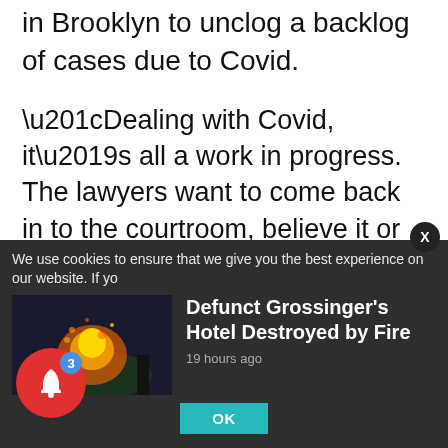in Brooklyn to unclog a backlog of cases due to Covid.
“Dealing with Covid, it’s all a work in progress. The lawyers want to come back in to the courtroom, believe it or not,” Gingold said. “It’s very hard to negotiate with people when someone is on the computer and someone’s in person. When they are both at home it is very hard to settle the case. We still have plastic screens up. I feel like I’m a
We use cookies to ensure that we give you the best experience on our website. If yo
Defunct Grossinger’s Hotel Destroyed by Fire
19 hours ago